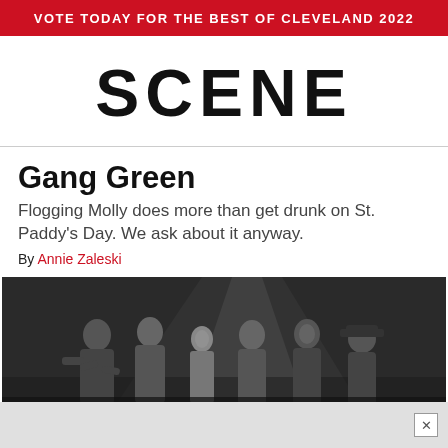VOTE TODAY FOR THE BEST OF CLEVELAND 2022
SCENE
Gang Green
Flogging Molly does more than get drunk on St. Paddy's Day. We ask about it anyway.
By Annie Zaleski
[Figure (photo): Black and white photo of a band (Flogging Molly), multiple members standing together indoors under stage lighting]